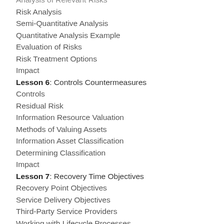Analysis of Relevant Risks
Risk Analysis
Semi-Quantitative Analysis
Quantitative Analysis Example
Evaluation of Risks
Risk Treatment Options
Impact
Lesson 6: Controls Countermeasures
Controls
Residual Risk
Information Resource Valuation
Methods of Valuing Assets
Information Asset Classification
Determining Classification
Impact
Lesson 7: Recovery Time Objectives
Recovery Point Objectives
Service Delivery Objectives
Third-Party Service Providers
Working with Lifecycle Processes